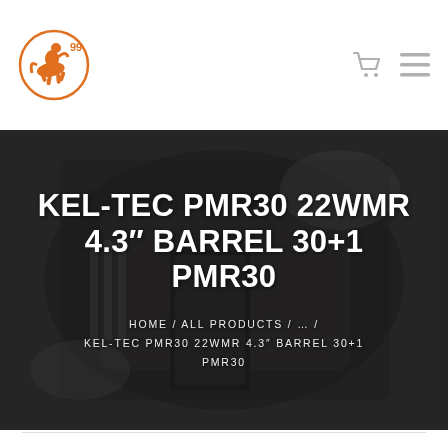Logo and navigation icons
KEL-TEC PMR30 22WMR 4.3" BARREL 30+1 PMR30
HOME / ALL PRODUCTS / ... / KEL-TEC PMR30 22WMR 4.3" BARREL 30+1 PMR30
Home / Handguns / Kel-Tec PMR30 22WMR 4.3" Barrel 30+1 PMR30